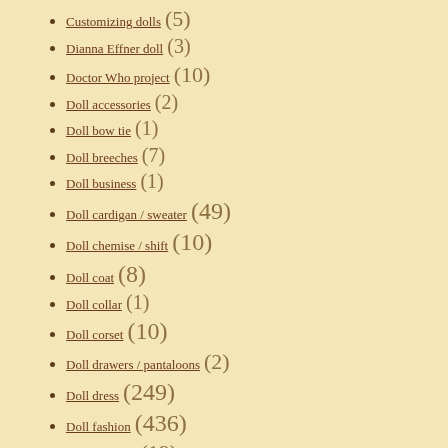Customizing dolls (5)
Dianna Effner doll (3)
Doctor Who project (10)
Doll accessories (2)
Doll bow tie (1)
Doll breeches (7)
Doll business (1)
Doll cardigan / sweater (49)
Doll chemise / shift (10)
Doll coat (8)
Doll collar (1)
Doll corset (10)
Doll drawers / pantaloons (2)
Doll dress (249)
Doll fashion (436)
Doll handbag (19)
Doll hat / headwear (69)
Dollhouse miniature (4)
Doll jacket (11)